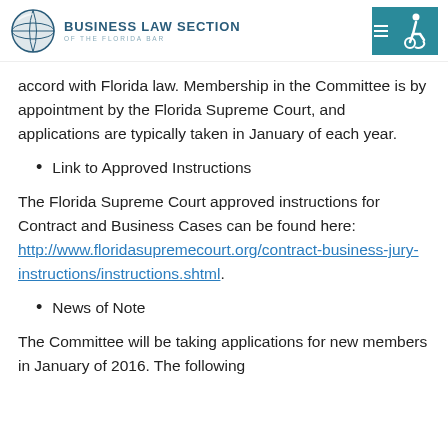BUSINESS LAW SECTION OF THE FLORIDA BAR
accord with Florida law. Membership in the Committee is by appointment by the Florida Supreme Court, and applications are typically taken in January of each year.
Link to Approved Instructions
The Florida Supreme Court approved instructions for Contract and Business Cases can be found here: http://www.floridasupremecourt.org/contract-business-jury-instructions/instructions.shtml.
News of Note
The Committee will be taking applications for new members in January of 2016. The following